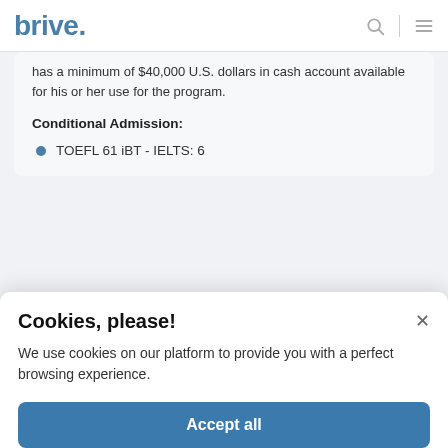brive.
has a minimum of $40,000 U.S. dollars in cash account available for his or her use for the program.
Conditional Admission:
TOEFL 61 iBT - IELTS: 6
Cookies, please!
We use cookies on our platform to provide you with a perfect browsing experience.
Accept all